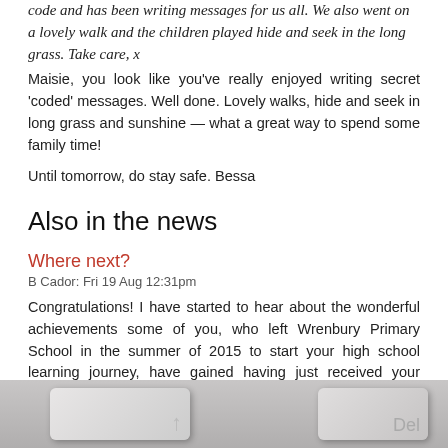code and has been writing messages for us all. We also went on a lovely walk and the children played hide and seek in the long grass. Take care, x
Maisie, you look like you've really enjoyed writing secret 'coded' messages. Well done. Lovely walks, hide and seek in long grass and sunshine — what a great way to spend some family time!
Until tomorrow, do stay safe. Bessa
Also in the news
Where next?
B Cador: Fri 19 Aug 12:31pm
Congratulations! I have started to hear about the wonderful achievements some of you, who left Wrenbury Primary School in the summer of 2015 to start your high school learning journey, have gained having just received your BTEC results, A Level results and other equally
[Figure (photo): Close-up photo of keyboard keys, showing two keys — one with no visible label on the left and 'Del' key on the right, with a blurred background]